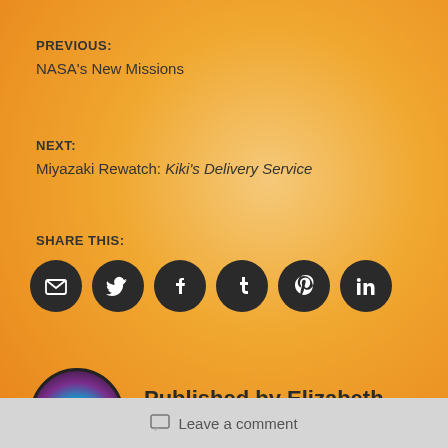PREVIOUS:
NASA's New Missions
NEXT:
Miyazaki Rewatch: Kiki's Delivery Service
SHARE THIS:
[Figure (infographic): Six social sharing icon buttons (email, Twitter, Facebook, Tumblr, Pinterest, LinkedIn) as dark circular icons]
Published by Elizabeth
[Figure (photo): Circular avatar with dark background featuring a glowing blue/purple orb (Siri-like icon)]
View all posts by Elizabeth
Leave a comment